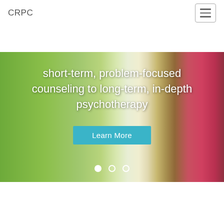CRPC
[Figure (photo): Garden path with green shrubs on the left and red/pink flowering bushes on the right, used as a hero banner background image with overlay text reading 'short-term, problem-focused counseling to long-term, in-depth psychotherapy' and a 'Learn More' button, plus carousel navigation dots.]
The Center for Religion and Psychotherapy is a not-for-profit organization offering psychotherapy and pastoral counseling for adults and adolescents, individuals and couples, since 1965. Fully accredited as a clinical and educational site by the American Association of Pastoral Counselors, the